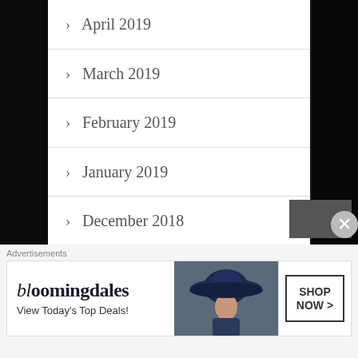> April 2019
> March 2019
> February 2019
> January 2019
> December 2018
> November 2018
> October 2018
> September 2018
Advertisements
[Figure (illustration): Bloomingdale's advertisement banner showing logo, 'View Today's Top Deals!' tagline, woman with wide-brim hat, and 'SHOP NOW >' button]